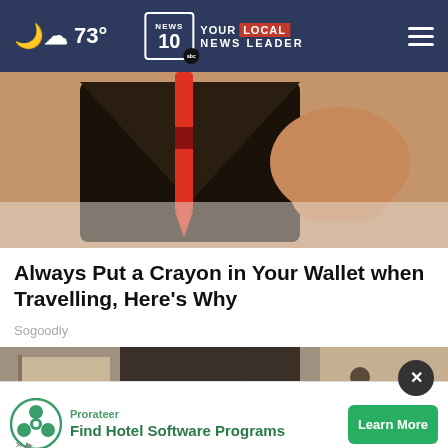73° | NEWS 10 YOUR LOCAL NEWS LEADER
[Figure (photo): Close-up photo of a hand holding an open wallet with a red crayon inside]
Always Put a Crayon in Your Wallet when Travelling, Here's Why
Sogoodly
[Figure (photo): Photo of a person, partially visible, with an advertisement overlay at the bottom]
Prorateer
Find Hotel Software Programs
Learn More